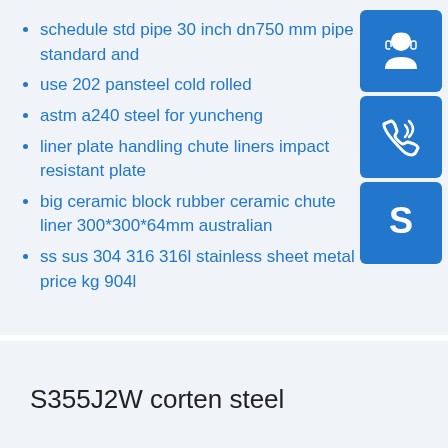schedule std pipe 30 inch dn750 mm pipe standard and
use 202 pansteel cold rolled
astm a240 steel for yuncheng
liner plate handling chute liners impact resistant plate
big ceramic block rubber ceramic chute liner 300*300*64mm australian
ss sus 304 316 316l stainless sheet metal price kg 904l
[Figure (illustration): Three blue square icon buttons stacked vertically on the right side: a customer support headset icon, a phone/call icon, and a Skype icon]
S355J2W corten steel